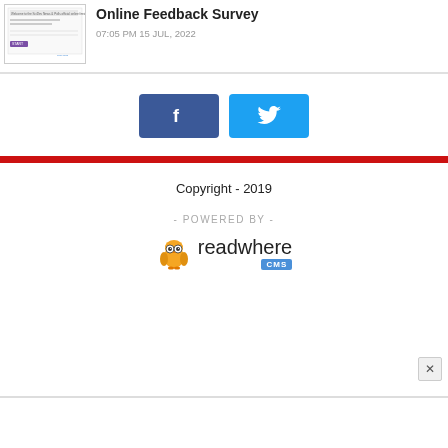[Figure (screenshot): Small thumbnail screenshot of a webpage with form elements and a purple button]
Online Feedback Survey
07:05 PM 15 JUL, 2022
[Figure (other): Facebook and Twitter social share buttons]
Copyright - 2019
- POWERED BY -
[Figure (logo): readwhere CMS logo with owl mascot]